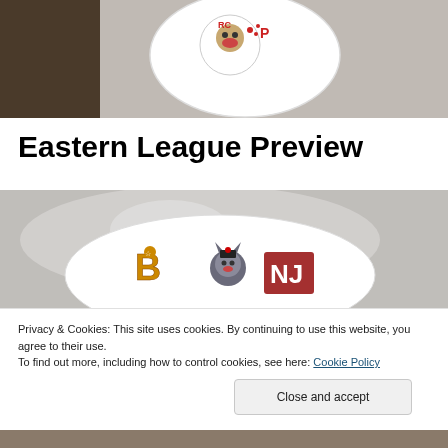[Figure (photo): Close-up photo of a white ceramic plate or dish with a baseball team mascot logo on it, dark brown background visible at top]
Eastern League Preview
[Figure (photo): Close-up photo of a white baseball or ceramic ball with multiple minor league baseball team mascot logos on it (letter B character, wolf mascot, NJ team logo), grey metallic background]
Privacy & Cookies: This site uses cookies. By continuing to use this website, you agree to their use.
To find out more, including how to control cookies, see here: Cookie Policy
Close and accept
[Figure (photo): Partial view of another photo at the bottom of the page]